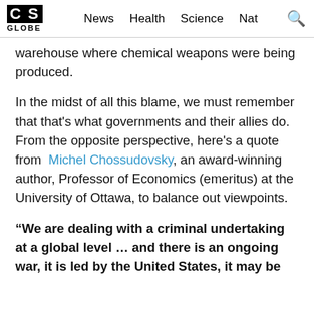CS GLOBE | News  Health  Science  Nat  🔍
warehouse where chemical weapons were being produced.
In the midst of all this blame, we must remember that that's what governments and their allies do. From the opposite perspective, here's a quote from Michel Chossudovsky, an award-winning author, Professor of Economics (emeritus) at the University of Ottawa, to balance out viewpoints.
“We are dealing with a criminal undertaking at a global level … and there is an ongoing war, it is led by the United States, it may be